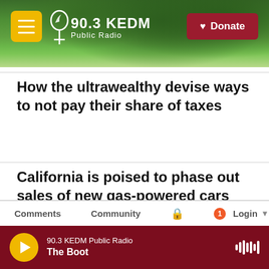[Figure (screenshot): 90.3 KEDM Public Radio website header with forest background, hamburger menu button, station logo, and Donate button]
How the ultrawealthy devise ways to not pay their share of taxes
California is poised to phase out sales of new gas-powered cars
90.3 KEDM Public Radio · The Boot